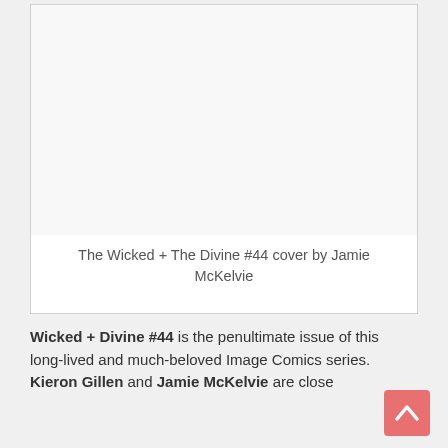[Figure (illustration): White rectangular image card with empty image area at top and caption below reading 'The Wicked + The Divine #44 cover by Jamie McKelvie']
The Wicked + The Divine #44 cover by Jamie McKelvie
Wicked + Divine #44 is the penultimate issue of this long-lived and much-beloved Image Comics series. Kieron Gillen and Jamie McKelvie are close